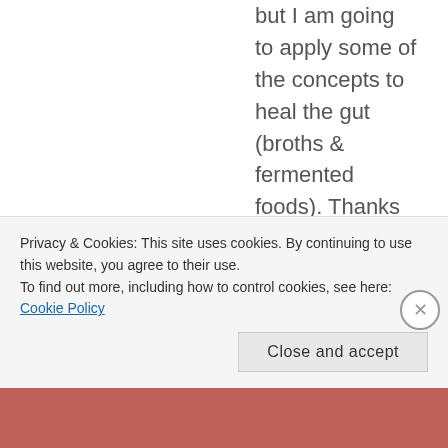but I am going to apply some of the concepts to heal the gut (broths & fermented foods). Thanks for the ideas!
REPLY
Candace says:
At my next biomed appointment, I will
[Figure (illustration): Purple and white geometric quilt-pattern avatar icon]
Privacy & Cookies: This site uses cookies. By continuing to use this website, you agree to their use.
To find out more, including how to control cookies, see here: Cookie Policy
Close and accept